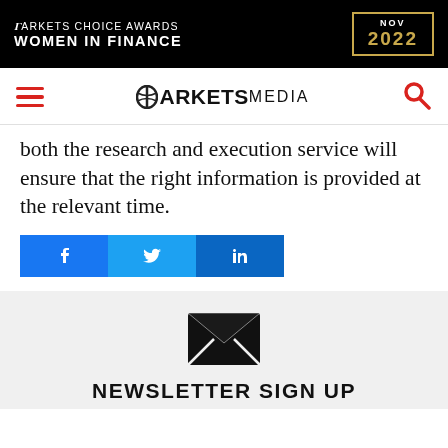[Figure (logo): Markets Choice Awards Women in Finance NOV 2022 advertisement banner on black background with gold border]
[Figure (logo): Markets Media navigation header with hamburger menu, logo, and search icon]
both the research and execution service will ensure that the right information is provided at the relevant time.
[Figure (infographic): Social share buttons: Facebook, Twitter, LinkedIn]
[Figure (infographic): Envelope icon above Newsletter Sign Up section on grey background]
NEWSLETTER SIGN UP